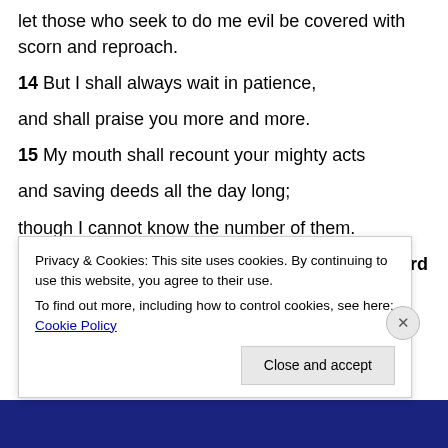let those who seek to do me evil be covered with scorn and reproach.
14  But I shall always wait in patience,
and shall praise you more and more.
15  My mouth shall recount your mighty acts
and saving deeds all the day long;
though I cannot know the number of them.
16  I will begin with the mighty works of the Lord GOD
Privacy & Cookies: This site uses cookies. By continuing to use this website, you agree to their use.
To find out more, including how to control cookies, see here: Cookie Policy
Close and accept